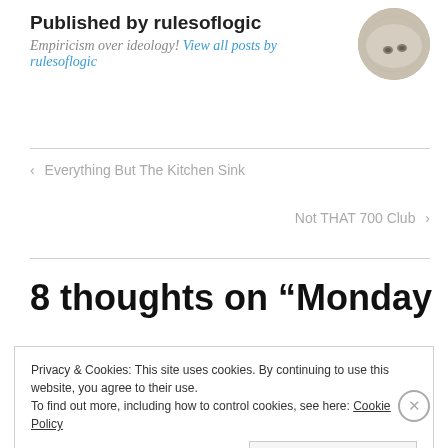Published by rulesoflogic
Empiricism over ideology! View all posts by rulesoflogic
[Figure (photo): Circular avatar photo showing a close-up of carpet or fabric with two small objects]
< Everything But The Kitchen Sink
Not THAT 700 Club >
8 thoughts on “Monday
Privacy & Cookies: This site uses cookies. By continuing to use this website, you agree to their use.
To find out more, including how to control cookies, see here: Cookie Policy
Close and accept